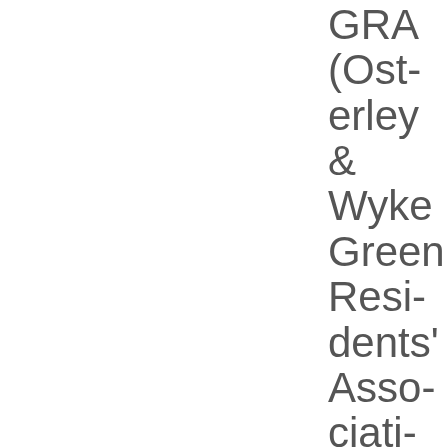GRA (Osterley & Wyke Green Residents' Association) and May